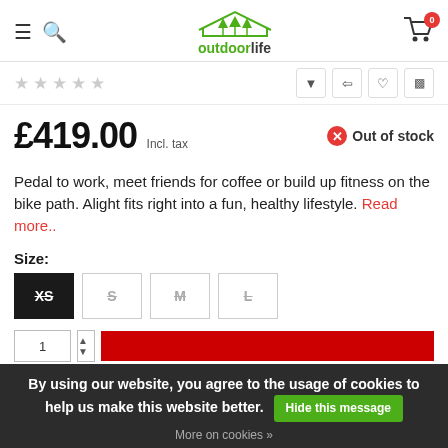outdoorlife
★ ★ ★ ★ ★
£419.00 Incl. tax   Out of stock
Pedal to work, meet friends for coffee or build up fitness on the bike path. Alight fits right into a fun, healthy lifestyle. Read more..
Size:
XS  S  M  L
By using our website, you agree to the usage of cookies to help us make this website better. Hide this message
More on cookies »